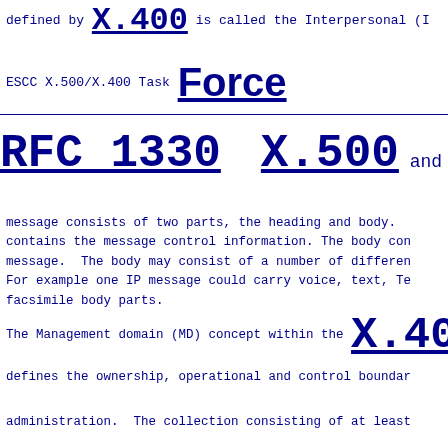defined by X.400 is called the Interpersonal (I...
ESCC X.500/X.400 Task Force
RFC 1330   X.500 and X.40...
message consists of two parts, the heading and body. contains the message control information. The body con... message. The body may consist of a number of differen... For example one IP message could carry voice, text, Te... facsimile body parts.
The Management domain (MD) concept within the X.40...
defines the ownership, operational and control boundar...
administration. The collection consisting of at least...